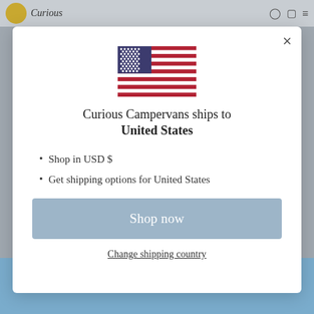[Figure (screenshot): Website modal dialog for Curious Campervans shipping selector. Shows US flag, title text, bullet points, and a shop now button.]
Curious Campervans ships to United States
Shop in USD $
Get shipping options for United States
Shop now
Change shipping country